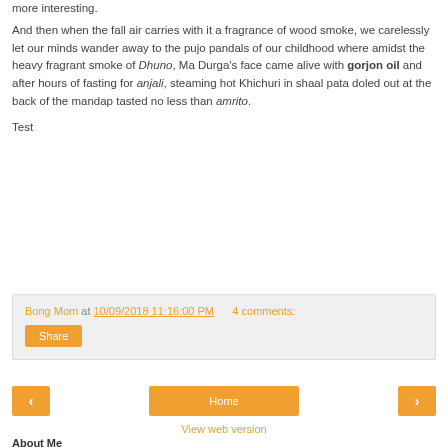more interesting.
And then when the fall air carries with it a fragrance of wood smoke, we carelessly let our minds wander away to the pujo pandals of our childhood where amidst the heavy fragrant smoke of Dhuno, Ma Durga's face came alive with gorjon oil and after hours of fasting for anjali, steaming hot Khichuri in shaal pata doled out at the back of the mandap tasted no less than amrito.
Test
Bong Mom at 10/09/2018 11:16:00 PM     4 comments:
Share
Home
View web version
About Me